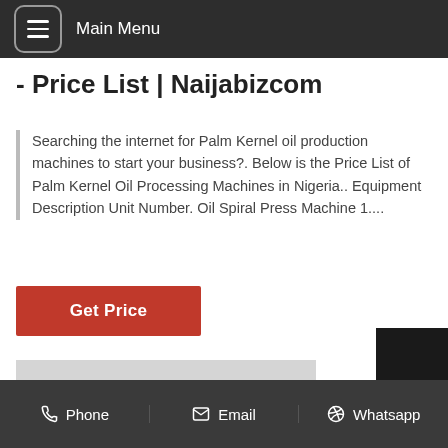Main Menu
- Price List | Naijabizcom
Searching the internet for Palm Kernel oil production machines to start your business?. Below is the Price List of Palm Kernel Oil Processing Machines in Nigeria.. Equipment Description Unit Number. Oil Spiral Press Machine 1....
Get Price
[Figure (photo): Industrial oil processing plant interior showing large white cylindrical tank, pipes, columns, and machinery in a factory setting]
Phone   Email   Whatsapp